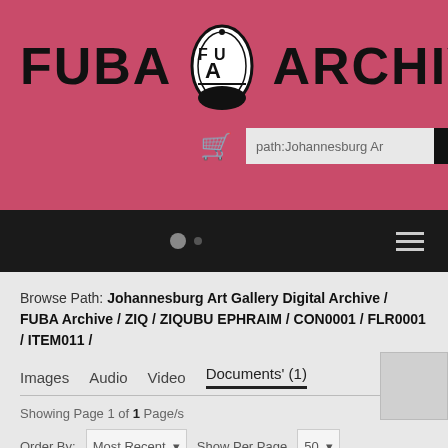[Figure (logo): FUBA Archive logo with oval emblem containing stylized FUA text]
path:Johannesburg Ar
Browse Path: Johannesburg Art Gallery Digital Archive / FUBA Archive / ZIQ / ZIQUBU EPHRAIM / CON0001 / FLR0001 / ITEM011 /
Images   Audio   Video   Documents' (1)
Showing Page 1 of 1 Page/s
Order By:   Most Recent   Show Per Page   50